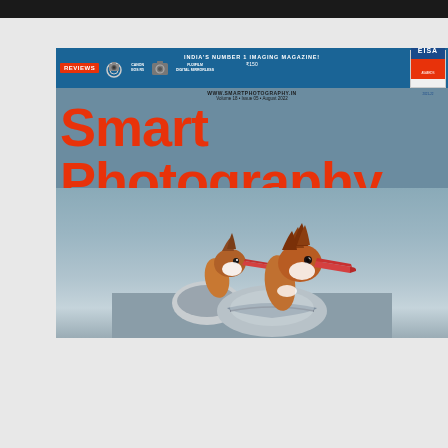[Figure (photo): Cover of Smart Photography magazine, India's Number 1 Imaging Magazine, Volume 18, Issue 05, August 2022. Price ₹150. Features EISA badge. Cover shows two Common Mergansers (ducks) with orange/rust colored heads and red bills, photographed close-up against a blurred grey-blue background. The magazine title 'Smart Photography' is displayed in large bold orange text across the top portion of the cover. Header band in blue shows 'REVIEWS' badge and camera product names including Canon and Fujifilm. Website: www.smartphotography.in]